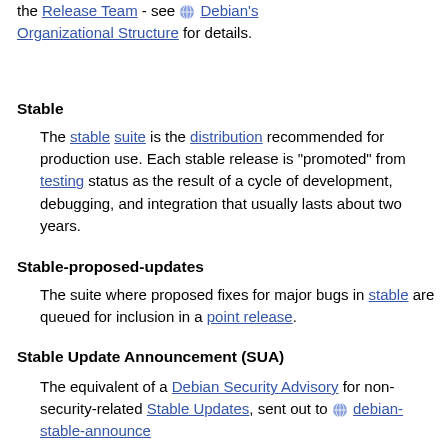the Release Team - see Debian's Organizational Structure for details.
Stable
The stable suite is the distribution recommended for production use. Each stable release is "promoted" from testing status as the result of a cycle of development, debugging, and integration that usually lasts about two years.
Stable-proposed-updates
The suite where proposed fixes for major bugs in stable are queued for inclusion in a point release.
Stable Update Announcement (SUA)
The equivalent of a Debian Security Advisory for non-security-related Stable Updates, sent out to debian-stable-announce